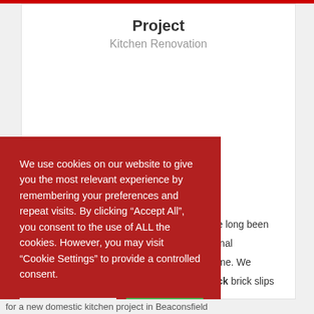Project
Kitchen Renovation
We use cookies on our website to give you the most relevant experience by remembering your preferences and repeat visits. By clicking “Accept All”, you consent to the use of ALL the cookies. However, you may visit “Cookie Settings” to provide a controlled consent.
Cookie Settings   Accept All
e long been inal me. We ck brick slips eaconsfield